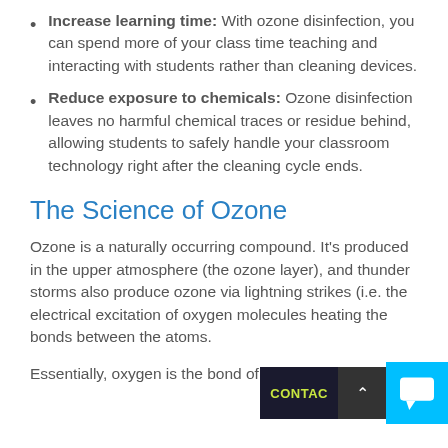Increase learning time: With ozone disinfection, you can spend more of your class time teaching and interacting with students rather than cleaning devices.
Reduce exposure to chemicals: Ozone disinfection leaves no harmful chemical traces or residue behind, allowing students to safely handle your classroom technology right after the cleaning cycle ends.
The Science of Ozone
Ozone is a naturally occurring compound. It’s produced in the upper atmosphere (the ozone layer), and thunder storms also produce ozone via lightning strikes (i.e. the electrical excitation of oxygen molecules heating the bonds between the atoms.
Essentially, oxygen is the bond of two oxygen